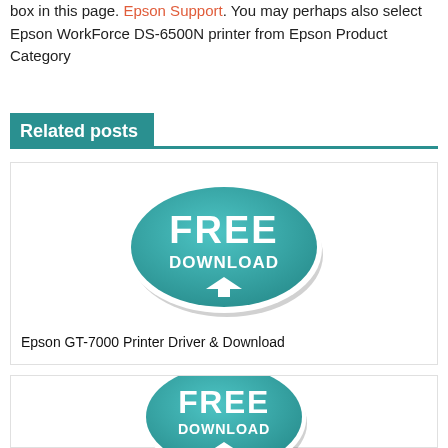box in this page. Epson Support. You may perhaps also select Epson WorkForce DS-6500N printer from Epson Product Category
Related posts
[Figure (illustration): Teal oval FREE DOWNLOAD badge with downward arrow]
Epson GT-7000 Printer Driver & Download
[Figure (illustration): Teal oval FREE DOWNLOAD badge with downward arrow (partially visible)]